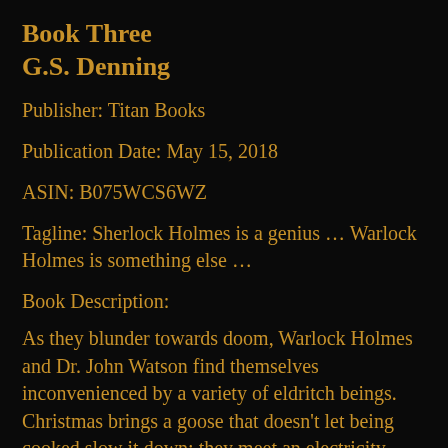Book Three
G.S. Denning
Publisher: Titan Books
Publication Date: May 15, 2018
ASIN: B075WCS6WZ
Tagline: Sherlock Holmes is a genius … Warlock Holmes is something else …
Book Description:
As they blunder towards doom, Warlock Holmes and Dr. John Watson find themselves inconvenienced by a variety of eldritch beings. Christmas brings a goose that doesn't let being cooked slow it down; they meet an electricity demon, discovers her being a godhead is over…